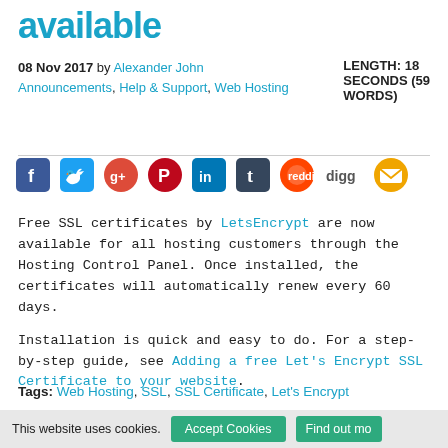available
08 Nov 2017 by Alexander John
Announcements, Help & Support, Web Hosting
LENGTH: 18 SECONDS (59 WORDS)
[Figure (infographic): Social media sharing icons: Facebook, Twitter, Google+, Pinterest, LinkedIn, Tumblr, Reddit, Digg, Email]
Free SSL certificates by LetsEncrypt are now available for all hosting customers through the Hosting Control Panel. Once installed, the certificates will automatically renew every 60 days.
Installation is quick and easy to do. For a step-by-step guide, see Adding a free Let's Encrypt SSL Certificate to your website.
Tags: Web Hosting, SSL, SSL Certificate, Let's Encrypt
» Read
This website uses cookies. Accept Cookies Find out mo